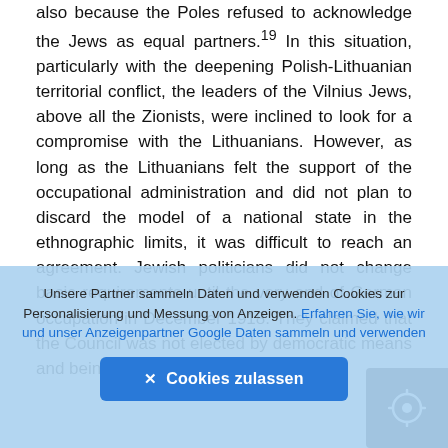also because the Poles refused to acknowledge the Jews as equal partners.19 In this situation, particularly with the deepening Polish-Lithuanian territorial conflict, the leaders of the Vilnius Jews, above all the Zionists, were inclined to look for a compromise with the Lithuanians. However, as long as the Lithuanians felt the support of the occupational administration and did not plan to discard the model of a national state in the ethnographic limits, it was difficult to reach an agreement. Jewish politicians did not change basic requirements until the very end of German occupation in December 1918. They claimed that the Council was not elected by democratic means and being monoational it could
Unsere Partner sammeln Daten und verwenden Cookies zur Personalisierung und Messung von Anzeigen. Erfahren Sie, wie wir und unser Anzeigenpartner Google Daten sammeln und verwenden